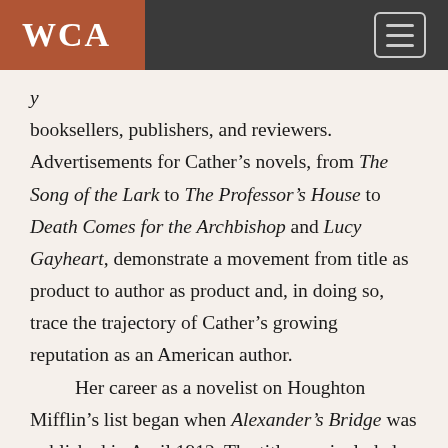WCA
booksellers, publishers, and reviewers. Advertisements for Cather’s novels, from The Song of the Lark to The Professor’s House to Death Comes for the Archbishop and Lucy Gayheart, demonstrate a movement from title as product to author as product and, in doing so, trace the trajectory of Cather’s growing reputation as an American author. Her career as a novelist on Houghton Mifflin’s list began when Alexander’s Bridge was published in April 1912. The title was included on